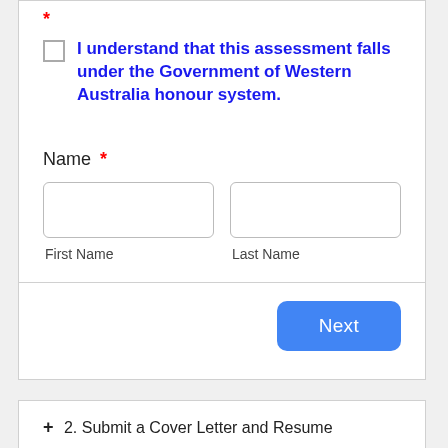*
I understand that this assessment falls under the Government of Western Australia honour system.
Name *
First Name
Last Name
Next
+ 2. Submit a Cover Letter and Resume